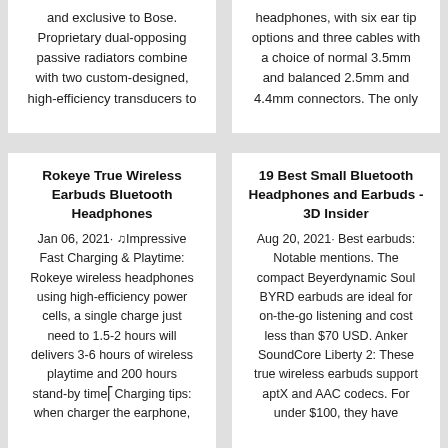and exclusive to Bose. Proprietary dual-opposing passive radiators combine with two custom-designed, high-efficiency transducers to
headphones, with six ear tip options and three cables with a choice of normal 3.5mm and balanced 2.5mm and 4.4mm connectors. The only
Rokeye True Wireless Earbuds Bluetooth Headphones
Jan 06, 2021· ♫Impressive Fast Charging & Playtime: Rokeye wireless headphones using high-efficiency power cells, a single charge just need to 1.5-2 hours will delivers 3-6 hours of wireless playtime and 200 hours stand-by time⎡Charging tips: when charger the earphone,
19 Best Small Bluetooth Headphones and Earbuds - 3D Insider
Aug 20, 2021· Best earbuds: Notable mentions. The compact Beyerdynamic Soul BYRD earbuds are ideal for on-the-go listening and cost less than $70 USD. Anker SoundCore Liberty 2: These true wireless earbuds support aptX and AAC codecs. For under $100, they have